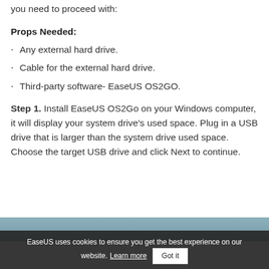you need to proceed with:
Props Needed:
Any external hard drive.
Cable for the external hard drive.
Third-party software- EaseUS OS2GO.
Step 1. Install EaseUS OS2Go on your Windows computer, it will display your system drive's used space. Plug in a USB drive that is larger than the system drive used space. Choose the target USB drive and click Next to continue.
EaseUS uses cookies to ensure you get the best experience on our website. Learn more  Got it